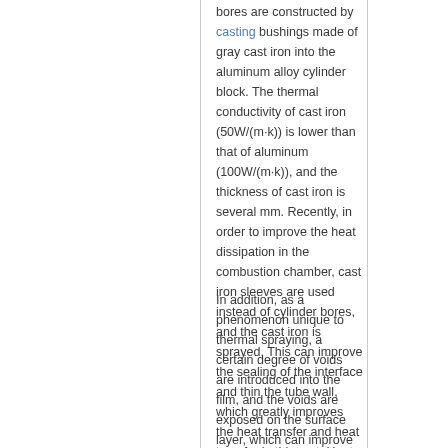bores are constructed by casting bushings made of gray cast iron into the aluminum alloy cylinder block. The thermal conductivity of cast iron (50W/(m·k)) is lower than that of aluminum (100W/(m·k)), and the thickness of cast iron is several mm. Recently, in order to improve the heat dissipation in the combustion chamber, cast iron sleeves are used instead of cylinder bores, and the cast iron is sprayed. This can improve the sealing of the interface and thin the tube wall, which greatly improves the heat transfer and heat transfer in this part. Heat transfer.
In addition, as a phenomenon unique to thermal spraying, a certain degree of voids are introduced into the film, and the voids are exposed on the surface layer, which can improve the oil retention of the surface of the cylinder bore.